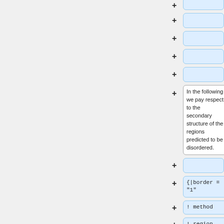[Figure (screenshot): Diff/edit view from a wiki or version control system showing a series of collapsed (collapsed blue boxes with '+' signs) and one expanded text block reading 'In the following we pay respect to the secondary structure of the regions predicted to be disordered.' followed by more collapsed items including code lines '{|border = "1"', '! method', '! region', '! secondary structure'.]
In the following we pay respect to the secondary structure of the regions predicted to be disordered.
{|border = "1"
! method
! region
! secondary structure